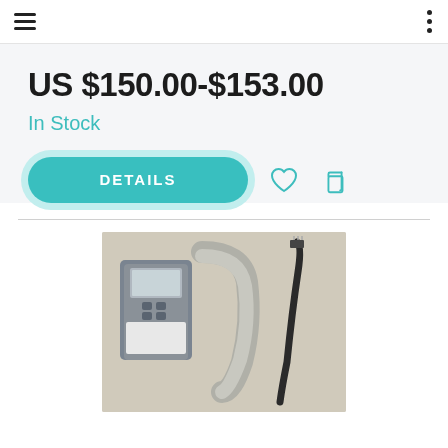[Figure (screenshot): Top navigation bar with hamburger menu icon on the left and three-dot vertical menu icon on the right]
US $150.00-$153.00
In Stock
[Figure (other): DETAILS button with teal rounded pill shape, heart icon outline, and copy icon outline]
[Figure (photo): Product photo showing a small electronic controller/timer device with an LCD screen and buttons, alongside coiled gray ribbon cable and a black cable with connector]